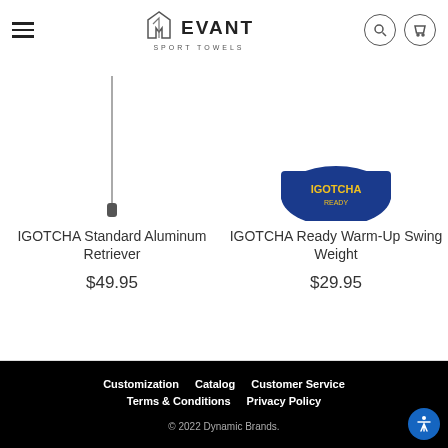Evant Sport Towels — navigation header with hamburger menu, logo, search and cart icons
[Figure (photo): IGOTCHA Standard Aluminum Retriever product image — a long thin aluminum rod with dark handle tip on white background]
IGOTCHA Standard Aluminum Retriever
$49.95
[Figure (photo): IGOTCHA Ready Warm-Up Swing Weight product image — blue semicircle shaped weight with yellow IGOTCHA logo text]
IGOTCHA Ready Warm-Up Swing Weight
$29.95
Customization  Catalog  Customer Service  Terms & Conditions  Privacy Policy  © 2022 Dynamic Brands.